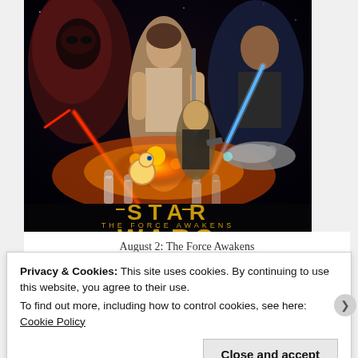[Figure (photo): Star Wars: The Force Awakens movie poster showing characters including Rey, Finn, Kylo Ren, Han Solo, and others with lightsabers and spacecraft against a space background. Title text reads 'STAR WARS THE FORCE AWAKENS' at the bottom of the poster.]
August 2: The Force Awakens
Privacy & Cookies: This site uses cookies. By continuing to use this website, you agree to their use.
To find out more, including how to control cookies, see here: Cookie Policy
Close and accept